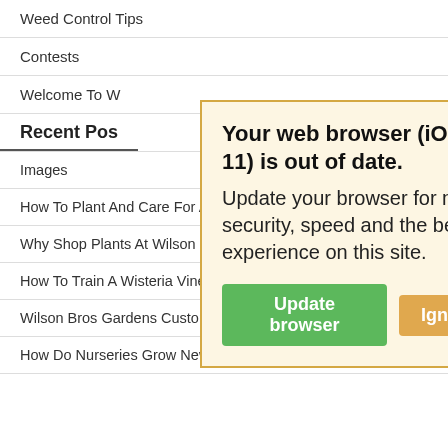Weed Control Tips
Contests
Welcome To W…
[Figure (screenshot): Browser update warning popup with yellow background and orange border. Title: 'Your web browser (iOS 11) is out of date.' Body: 'Update your browser for more security, speed and the best experience on this site.' Two buttons: 'Update browser' (green) and 'Ignore' (orange/tan).]
Recent Posts
Images
How To Plant And Care For A Redbud Tree
Why Shop Plants At Wilson Bros Gardens
How To Train A Wisteria Vine To A Tree Form
Wilson Bros Gardens Customer Reviews (2020)
How Do Nurseries Grow New Bamboo Plants?